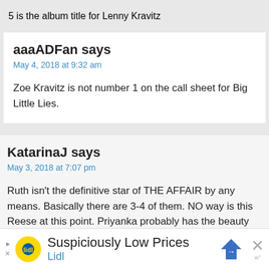5 is the album title for Lenny Kravitz
aaaADFan says
May 4, 2018 at 9:32 am
Zoe Kravitz is not number 1 on the call sheet for Big Little Lies.
KatarinaJ says
May 3, 2018 at 7:07 pm
Ruth isn't the definitive star of THE AFFAIR by any means. Basically there are 3-4 of them. NO way is this Reese at this point. Priyanka probably has the beauty queen ego. Zoe Kravitz doesn't have the clout or resume to do this.
[Figure (other): Lidl advertisement banner with text 'Suspiciously Low Prices' and Lidl logo and navigation arrow icon]